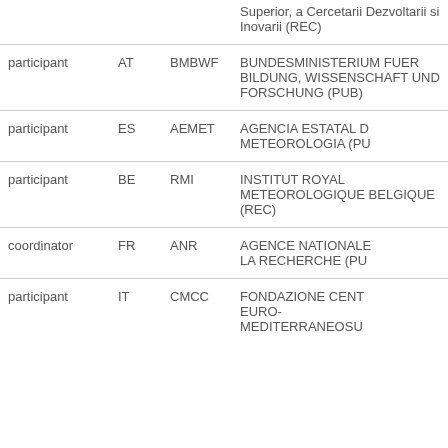| Role | Country | Short Name | Organisation |
| --- | --- | --- | --- |
|  |  |  | Superior, a Cercetarii Dezvoltarii si Inovarii (REC) |
| participant | AT | BMBWF | BUNDESMINISTERIUM FUER BILDUNG, WISSENSCHAFT UND FORSCHUNG (PUB) |
| participant | ES | AEMET | AGENCIA ESTATAL DE METEOROLOGIA (PU...) |
| participant | BE | RMI | INSTITUT ROYAL METEOROLOGIQUE BELGIQUE (REC) |
| coordinator | FR | ANR | AGENCE NATIONALE DE LA RECHERCHE (PU...) |
| participant | IT | CMCC | FONDAZIONE CENTRO EURO-MEDITERRANEOSU... |